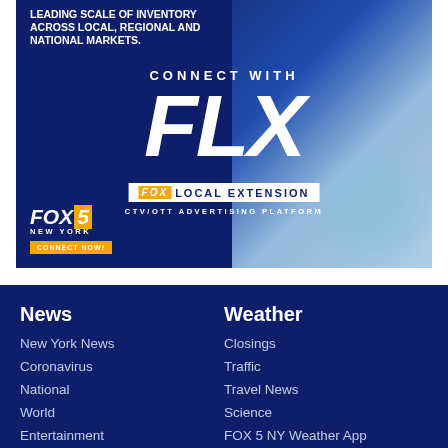[Figure (illustration): Fox Local Extension advertisement banner. Dark blue background with business photo overlay. Text reads: LEADING SCALE OF INVENTORY ACROSS LOCAL, REGIONAL AND NATIONAL MARKETS. CONNECT WITH FLX FOX LOCAL EXTENSION CTV/OTT ADVERTISING PLATFORM. FOX 5 NEW YORK. CONNECT NOW!]
News
New York News
Coronavirus
National
World
Entertainment
Weather
Closings
Traffic
Travel News
Science
FOX 5 NY Weather App